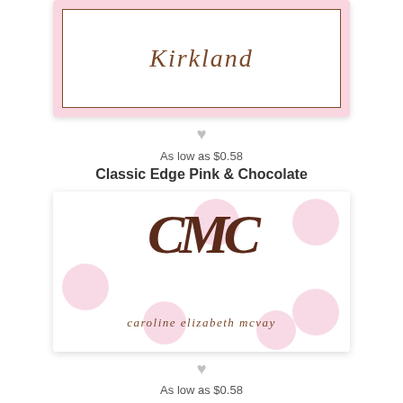[Figure (illustration): Top stationery card with pink border and brown script text reading 'Kirkland' inside a brown border frame]
[Figure (illustration): Small gray heart icon used as a separator]
As low as $0.58
Classic Edge Pink & Chocolate
[Figure (illustration): White stationery card with large pink polka dots, ornate brown script monogram 'CME' and text 'caroline elizabeth mcvay' in italic serif font]
[Figure (illustration): Small gray heart icon used as a separator]
As low as $0.58